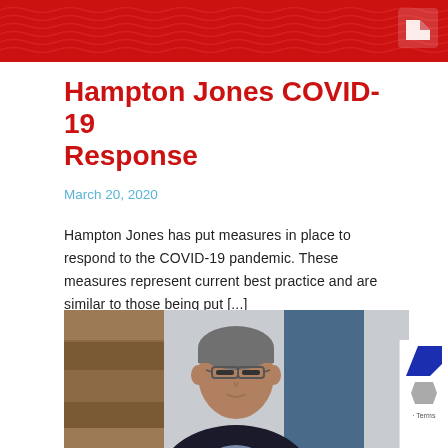[Figure (illustration): Red header banner with wave pattern and white logo icon in top right corner]
Hampton Jones COVID-19 Response
March 20, 2020
Hampton Jones has put measures in place to respond to the COVID-19 pandemic. These measures represent current best practice and are similar to those being put [...]
[Figure (photo): Professional headshot of a middle-aged man with glasses wearing a dark suit jacket, photographed in an office environment]